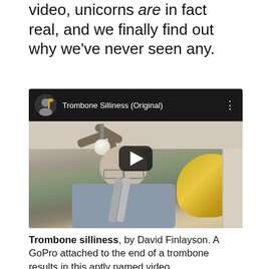video, unicorns are in fact real, and we finally find out why we've never seen any.
[Figure (screenshot): YouTube video embed showing 'Trombone Silliness (Original)' with a man playing trombone viewed from below via GoPro camera, with a ceiling fan visible above. A play button overlay is shown in the center.]
Trombone silliness, by David Finlayson. A GoPro attached to the end of a trombone results in this aptly named video.